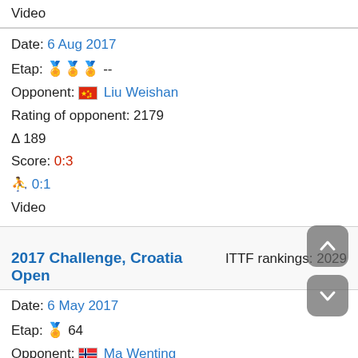Video
Date: 6 Aug 2017
Etap: 🏅🏅🏅 --
Opponent: 🇨🇳 Liu Weishan
Rating of opponent: 2179
Δ 189
Score: 0:3
🏃 0:1
Video
2017 Challenge, Croatia Open    ITTF rankings: 2029
Date: 6 May 2017
Etap: 🏅 64
Opponent: 🇳🇴 Ma Wenting
Rating of opponent: 2229
Δ 200
Score: 1:4
🏃 0:1